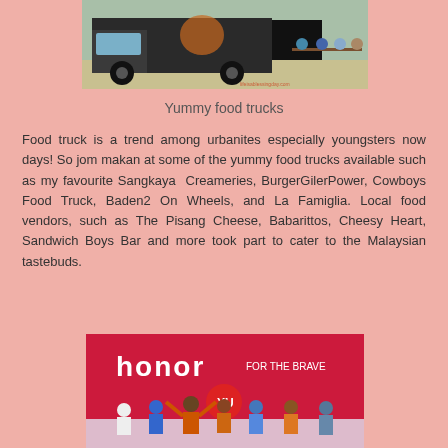[Figure (photo): A food truck (dark colored truck with logo) parked outdoors with people sitting at tables nearby.]
Yummy food trucks
Food truck is a trend among urbanites especially youngsters now days! So jom makan at some of the yummy food trucks available such as my favourite Sangkaya  Creameries, BurgerGilerPower, Cowboys Food Truck, Baden2 On Wheels, and La Famiglia. Local food vendors, such as The Pisang Cheese, Babarittos, Cheesy Heart, Sandwich Boys Bar and more took part to cater to the Malaysian tastebuds.
[Figure (photo): People standing on a stage in front of a pink 'honor FOR THE BRAVE' banner at an event.]